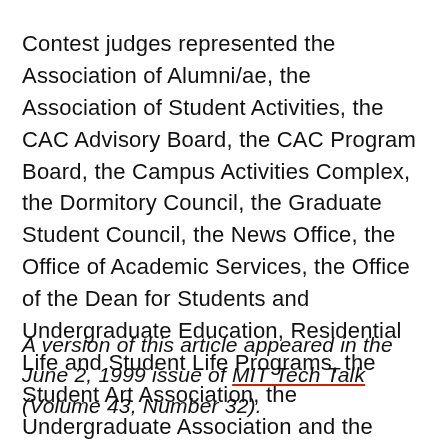Contest judges represented the Association of Alumni/ae, the Association of Student Activities, the CAC Advisory Board, the CAC Program Board, the Campus Activities Complex, the Dormitory Council, the Graduate Student Council, the News Office, the Office of Academic Services, the Office of the Dean for Students and Undergraduate Education, Residential Life and Student Life Programs, the Student Art Association, the Undergraduate Association and the Varsity Club.
A version of this article appeared in the June 2, 1999 issue of MIT Tech Talk (Volume 43, Number 32).